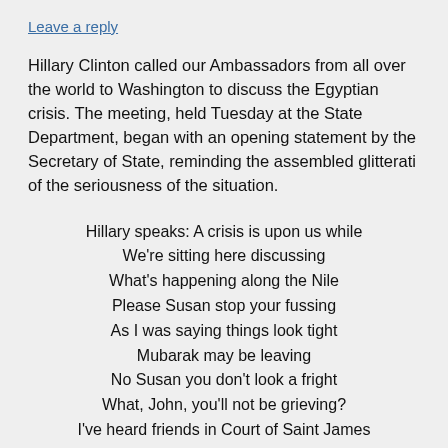Leave a reply
Hillary Clinton called our Ambassadors from all over the world to Washington to discuss the Egyptian crisis. The meeting, held Tuesday at the State Department, began with an opening statement by the Secretary of State, reminding the assembled glitterati of the seriousness of the situation.
Hillary speaks: A crisis is upon us while
We're sitting here discussing
What's happening along the Nile
Please Susan stop your fussing
As I was saying things look tight
Mubarak may be leaving
No Susan you don't look a fright
What, John, you'll not be grieving?
I've heard friends in Court of Saint James